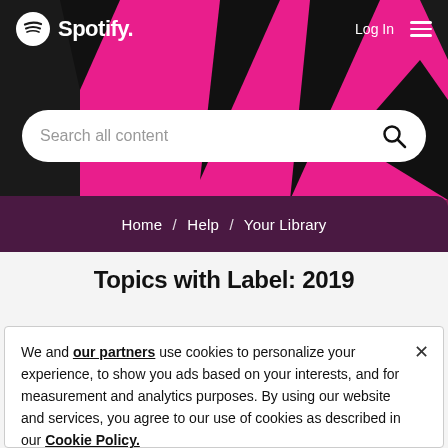[Figure (screenshot): Spotify header with pink and black geometric background, Spotify logo top left, Log In and hamburger menu top right, search bar reading 'Search all content', breadcrumb navigation showing 'Home / Help / Your Library']
Topics with Label: 2019
We and our partners use cookies to personalize your experience, to show you ads based on your interests, and for measurement and analytics purposes. By using our website and services, you agree to our use of cookies as described in our Cookie Policy.